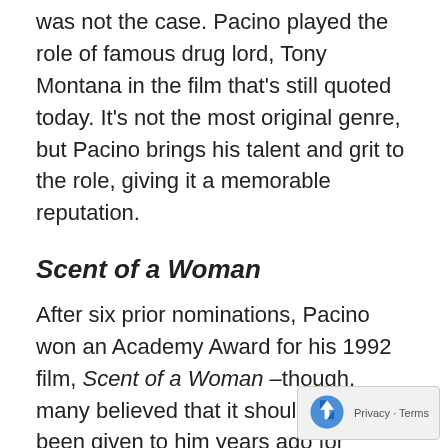was not the case. Pacino played the role of famous drug lord, Tony Montana in the film that's still quoted today. It's not the most original genre, but Pacino brings his talent and grit to the role, giving it a memorable reputation.
Scent of a Woman
After six prior nominations, Pacino won an Academy Award for his 1992 film, Scent of a Woman –though, many believed that it should have been given to him years ago for Scarface or The Godfather. In this movie, Pacino played a blind man who was being watched by a prep school student. It's believed by many that it's not his best performance, but is